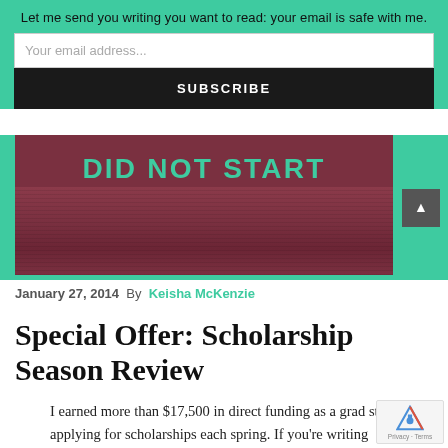Let me send you writing you want to read: your email is safe with me.
Your email address...
SUBSCRIBE
[Figure (photo): Image with text 'DID NOT START' in teal on a dark red wood-grain textured background, with a teal border.]
January 27, 2014  By  Keisha McKenzie
Special Offer: Scholarship Season Review
I earned more than $17,500 in direct funding as a grad student by applying for scholarships each spring. If you're writing applications this